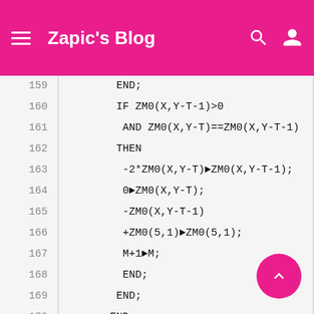Zapic's Blog
159    END;
160    IF ZM0(X,Y-T-1)>0
161     AND ZM0(X,Y-T)==ZM0(X,Y-T-1)
162    THEN
163     -2*ZM0(X,Y-T)►ZM0(X,Y-T-1);
164     0►ZM0(X,Y-T);
165     -ZM0(X,Y-T-1)
166     +ZM0(5,1)►ZM0(5,1);
167     M+1►M;
168     END;
169    END;
170   END;
171   UNTIL Y==4;
172   RETURN M;
173  END;
174
175  AdD() BEGIN
176   LOCAL M,X,Y,T;
177   4►Y;